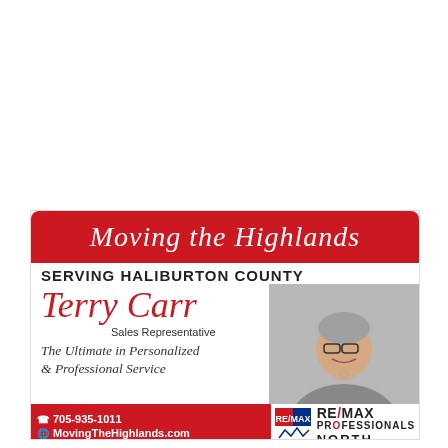[Figure (infographic): Real estate advertisement for Terry Carr, Sales Representative at RE/MAX Professionals North. Features red banner with 'Moving the Highlands' script text, 'SERVING HALIBURTON COUNTY' subheading, name in red script, photo of a woman, tagline 'The Ultimate in Personalized & Professional Service', contact info and RE/MAX logo.]
Moving the Highlands
SERVING HALIBURTON COUNTY
Terry Carr
Sales Representative
The Ultimate in Personalized & Professional Service
705-935-1011
MovingTheHighlands.com
Terry@MovingTheHighlands.com
RE/MAX PROFESSIONALS NORTH